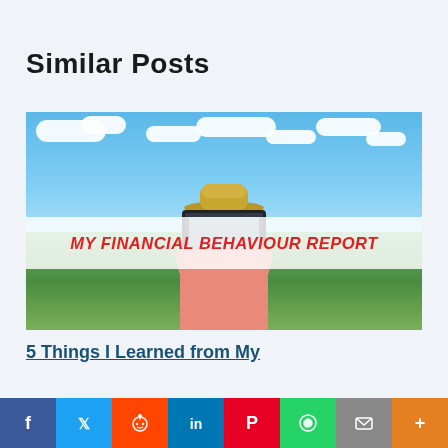Similar Posts
[Figure (photo): Person holding a tablet in front of their face outdoors under a blue sky, with text overlay reading MY FINANCIAL BEHAVIOUR REPORT]
5 Things I Learned from My
Social share bar: Facebook, Twitter, Reddit, LinkedIn, Pinterest, WhatsApp, Mail, More